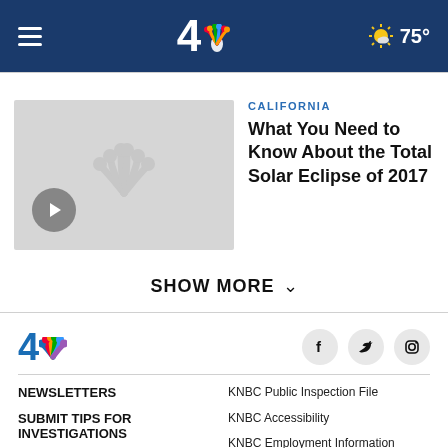NBC 4 | 75°
[Figure (screenshot): Video thumbnail placeholder showing NBC peacock logo on gray background with play button]
CALIFORNIA
What You Need to Know About the Total Solar Eclipse of 2017
SHOW MORE
[Figure (logo): NBC 4 logo with peacock in blue]
[Figure (other): Social media icons: Facebook, Twitter, Instagram]
NEWSLETTERS
KNBC Public Inspection File
SUBMIT TIPS FOR INVESTIGATIONS
KNBC Accessibility
KNBC Employment Information
CONTACT US AND MEET THE